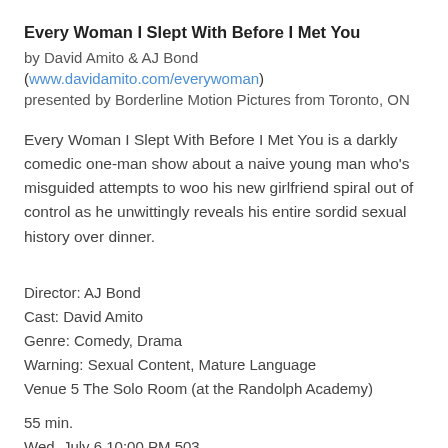Every Woman I Slept With Before I Met You
by David Amito & AJ Bond
(www.davidamito.com/everywoman)
presented by Borderline Motion Pictures from Toronto, ON
Every Woman I Slept With Before I Met You is a darkly comedic one-man show about a naive young man who's misguided attempts to woo his new girlfriend spiral out of control as he unwittingly reveals his entire sordid sexual history over dinner.
Director: AJ Bond
Cast: David Amito
Genre: Comedy, Drama
Warning: Sexual Content, Mature Language
Venue 5 The Solo Room (at the Randolph Academy)
55 min.
Wed, July 6 10:00 PM 503
Fri, July 8 8:15 PM 510